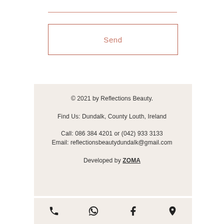[Figure (other): Horizontal line above Send button, terracotta/rose color]
Send
© 2021 by Reflections Beauty.
Find Us: Dundalk, County Louth, Ireland
Call: 086 384 4201 or (042) 933 3133
Email: reflectionsbeautydundalk@gmail.com
Developed by ZOMA
[Figure (other): Icon bar at bottom with phone, WhatsApp, Facebook, and map pin icons]